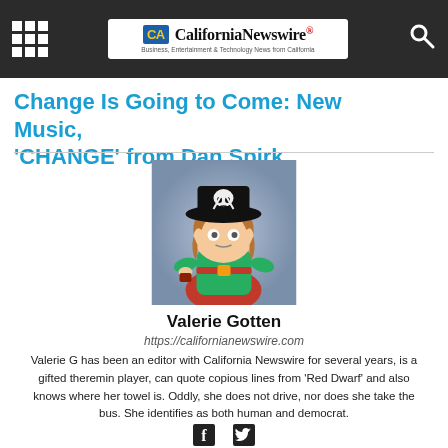California Newswire® — Business, Entertainment & Technology News from California
Change Is Going to Come: New Music, 'CHANGE' from Dan Spirk
[Figure (illustration): Cartoon avatar of Valerie Gotten as a pirate character holding a small item, wearing a black pirate hat with skull and crossbones, green shirt]
Valerie Gotten
https://californianewswire.com
Valerie G has been an editor with California Newswire for several years, is a gifted theremin player, can quote copious lines from 'Red Dwarf' and also knows where her towel is. Oddly, she does not drive, nor does she take the bus. She identifies as both human and democrat.
[Figure (other): Social media icons: Facebook and Twitter]